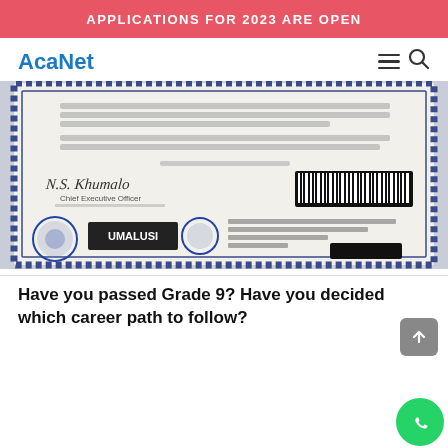APPLICATIONS FOR 2023 ARE OPEN
AcaNet
[Figure (photo): A partially visible South African National Senior Certificate (Matric certificate) showing official text, a signature by a Chief Executive Officer, a barcode, the UMALUSI logo and stamp, and a council seal. Parts of the certificate are blurred for privacy.]
Have you passed Grade 9? Have you decided which career path to follow?